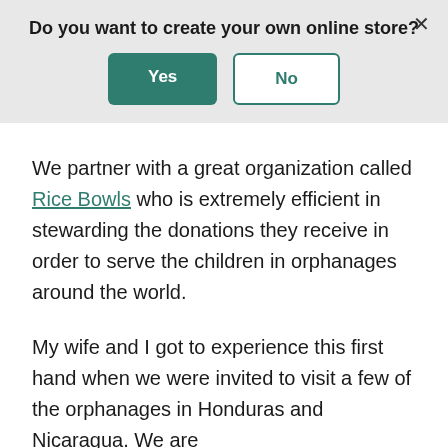Do you want to create your own online store?
We partner with a great organization called Rice Bowls who is extremely efficient in stewarding the donations they receive in order to serve the children in orphanages around the world.
My wife and I got to experience this first hand when we were invited to visit a few of the orphanages in Honduras and Nicaragua. We are